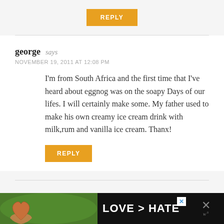REPLY
george says
NOVEMBER 19, 2011 AT 12:08 PM
I'm from South Africa and the first time that I've heard about eggnog was on the soapy Days of our lifes. I will certainly make some. My father used to make his own creamy ice cream drink with milk,rum and vanilla ice cream. Thanx!
REPLY
[Figure (photo): Advertisement banner with hands forming a heart shape over green background, text LOVE > HATE]